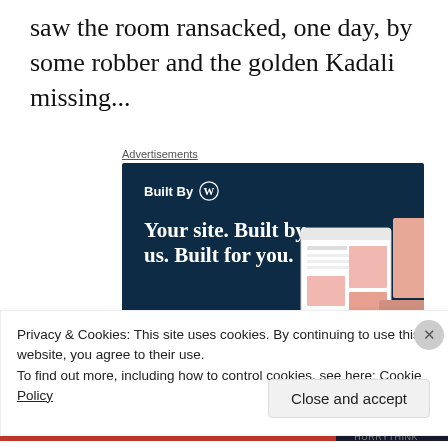saw the room ransacked, one day, by some robber and the golden Kadali missing...
Advertisements
[Figure (screenshot): WordPress 'Built By WP' advertisement banner with dark navy background. Shows 'Built By' with WordPress logo, headline 'Your site. Built by us. Built for you.' and a 'Get a quote now' button with website mockup imagery on the right.]
Privacy & Cookies: This site uses cookies. By continuing to use this website, you agree to their use.
To find out more, including how to control cookies, see here: Cookie Policy